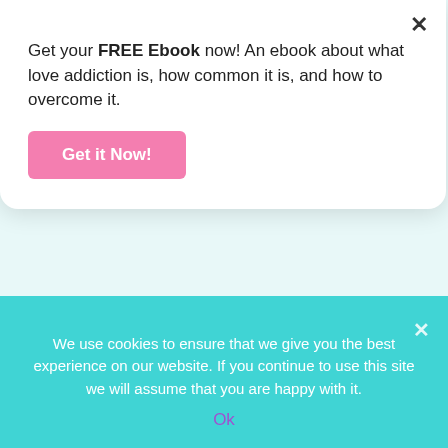Get your FREE Ebook now! An ebook about what love addiction is, how common it is, and how to overcome it.
Get it Now!
would be older, wiser and healthier! I would push this feeling aside and preoccupy myself until I just couldn't anymore.
All We Can Do Is Try
We use cookies to ensure that we give you the best experience on our website. If you continue to use this site we will assume that you are happy with it.
Ok